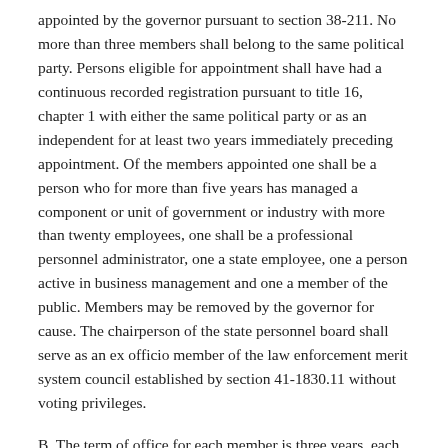appointed by the governor pursuant to section 38-211. No more than three members shall belong to the same political party. Persons eligible for appointment shall have had a continuous recorded registration pursuant to title 16, chapter 1 with either the same political party or as an independent for at least two years immediately preceding appointment. Of the members appointed one shall be a person who for more than five years has managed a component or unit of government or industry with more than twenty employees, one shall be a professional personnel administrator, one a state employee, one a person active in business management and one a member of the public. Members may be removed by the governor for cause. The chairperson of the state personnel board shall serve as an ex officio member of the law enforcement merit system council established by section 41-1830.11 without voting privileges.
B. The term of office for each member is three years, each